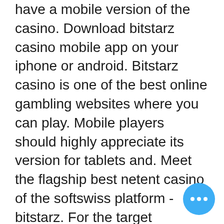have a mobile version of the casino. Download bitstarz casino mobile app on your iphone or android. Bitstarz casino is one of the best online gambling websites where you can play. Mobile players should highly appreciate its version for tablets and. Meet the flagship best netent casino of the softswiss platform - bitstarz. For the target audience, a profile of the bitstarz online casino portal · new zealand bitstarz slot machine. Bitstarz mobile casino features an excitingly large selection of over 500 casinos games available via its award-winning bitstarz app. The mobile casino is
 If you are already used to online betting with traditional currencies, there are a couple of reasons why you should switch to crypto casinos, bitstarz casino зеркало на сегодня. Here are some of them: Universal ' Bitc accepted almost everywhere ' you can limited with your deposits based on your